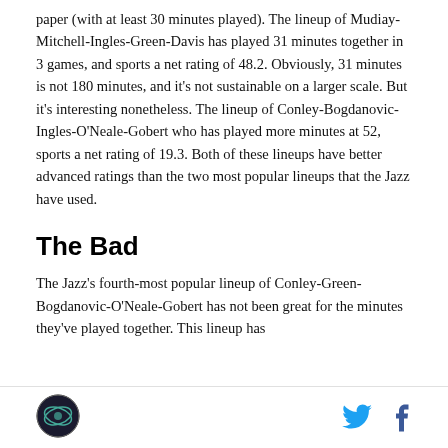paper (with at least 30 minutes played). The lineup of Mudiay-Mitchell-Ingles-Green-Davis has played 31 minutes together in 3 games, and sports a net rating of 48.2. Obviously, 31 minutes is not 180 minutes, and it's not sustainable on a larger scale. But it's interesting nonetheless. The lineup of Conley-Bogdanovic-Ingles-O'Neale-Gobert who has played more minutes at 52, sports a net rating of 19.3. Both of these lineups have better advanced ratings than the two most popular lineups that the Jazz have used.
The Bad
The Jazz's fourth-most popular lineup of Conley-Green-Bogdanovic-O'Neale-Gobert has not been great for the minutes they've played together. This lineup has